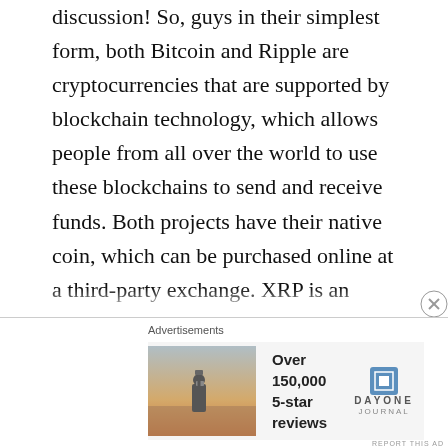discussion! So, guys in their simplest form, both Bitcoin and Ripple are cryptocurrencies that are supported by blockchain technology, which allows people from all over the world to use these blockchains to send and receive funds. Both projects have their native coin, which can be purchased online at a third-party exchange. XRP is an asset or Ripple, we are going to talk about the xrp news today and the xrp price prediction and analytics of 2021, with Crypto Millionaires we talk about the live analytics of ripple (XRP) and we will keep you up to date for every XRP PUMP and the Xrp court case that's going on right now! What is XRP? XRP is a token used for representing the transfer of value across
Advertisements
[Figure (photo): Advertisement banner showing a person photographing a sunset, with text 'Over 150,000 5-star reviews' and Day One Journal logo]